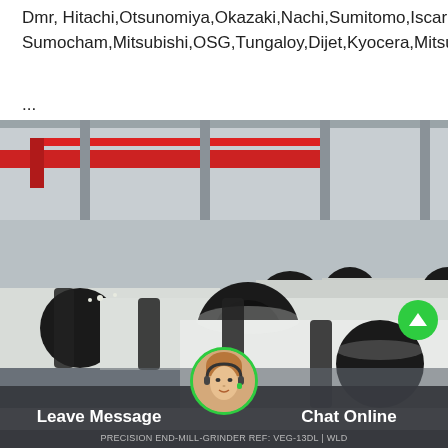Dmr, Hitachi,Otsunomiya,Okazaki,Nachi,Sumitomo,Iscar Sumocham,Mitsubishi,OSG,Tungaloy,Dijet,Kyocera,Mitsubishi
...
[Figure (photo): Industrial warehouse interior showing large white cylindrical pipes/tubes laid on rollers, with red overhead crane beams visible in the background and a high ceiling structure]
Leave Message   PRECISION END-MILL-GRINDER REF: VEG-13DL | WLD   Chat Online